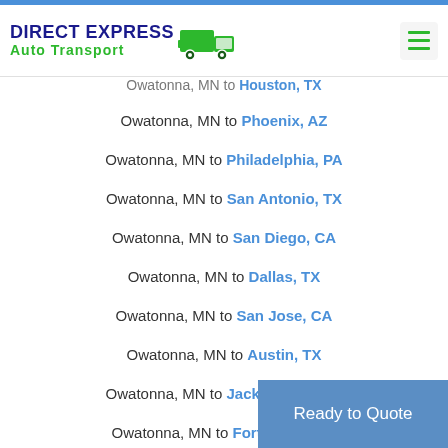Direct Express Auto Transport
Owatonna, MN to Houston, TX
Owatonna, MN to Phoenix, AZ
Owatonna, MN to Philadelphia, PA
Owatonna, MN to San Antonio, TX
Owatonna, MN to San Diego, CA
Owatonna, MN to Dallas, TX
Owatonna, MN to San Jose, CA
Owatonna, MN to Austin, TX
Owatonna, MN to Jacksonville, FL
Owatonna, MN to Fort Worth, TX